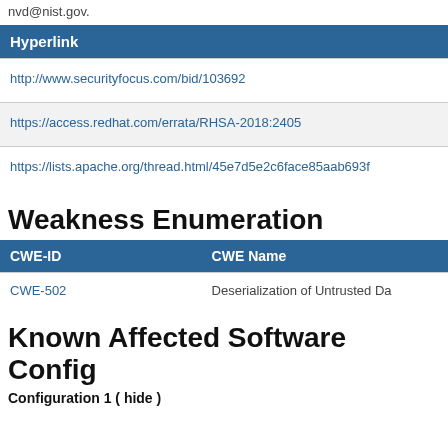nvd@nist.gov.
| Hyperlink |
| --- |
| http://www.securityfocus.com/bid/103692 |
| https://access.redhat.com/errata/RHSA-2018:2405 |
| https://lists.apache.org/thread.html/45e7d5e2c6face85aab693f… |
Weakness Enumeration
| CWE-ID | CWE Name |
| --- | --- |
| CWE-502 | Deserialization of Untrusted Da… |
Known Affected Software Config
Configuration 1 ( hide )